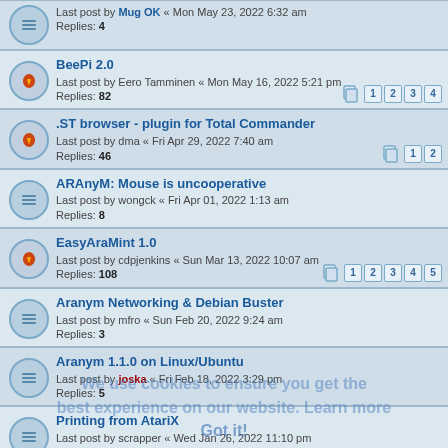Last post by Mug OK « Mon May 23, 2022 6:32 am
Replies: 4
BeePi 2.0
Last post by Eero Tamminen « Mon May 16, 2022 5:21 pm
Replies: 82
.ST browser - plugin for Total Commander
Last post by dma « Fri Apr 29, 2022 7:40 am
Replies: 46
ARAnyM: Mouse is uncooperative
Last post by wongck « Fri Apr 01, 2022 1:13 am
Replies: 8
EasyAraMint 1.0
Last post by cdpjenkins « Sun Mar 13, 2022 10:07 am
Replies: 108
Aranym Networking & Debian Buster
Last post by mfro « Sun Feb 20, 2022 9:24 am
Replies: 3
Aranym 1.1.0 on Linux/Ubuntu
Last post by joska « Fri Feb 18, 2022 3:29 pm
Replies: 5
Printing from AtariX
Last post by scrapper « Wed Jan 26, 2022 11:10 pm
copying applications to nostalgia
Last post by calimero « Wed Jan 19, 2022 4:33 pm
Replies: 5
EasyAraMint on OSf...